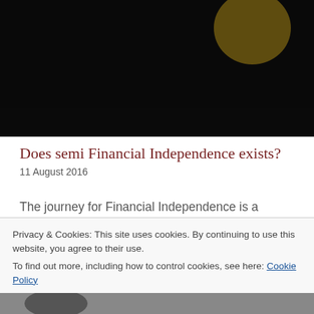[Figure (photo): Dark hero image with silhouette and yellow/orange accent, partially visible at top of page]
Does semi Financial Independence exists?
11 August 2016
The journey for Financial Independence is a marathon. It takes a lot of time before you reach the finish line. It can be quite demotivating not to see the end. While reading blogs and comments on my site, I actually came
Privacy & Cookies: This site uses cookies. By continuing to use this website, you agree to their use.
To find out more, including how to control cookies, see here: Cookie Policy
[Figure (photo): Bottom partial image, partially visible at bottom of page]